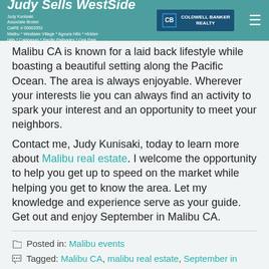Judy Sells WestSide | Judy Kunisaki Associate Broker CalRE # 00963552 Malibu * Westlake Village * Agoura Hills * Hidden Hills * Calabasas * Pacific Palisades * Oak Park | Coldwell Banker Realty
Malibu CA is known for a laid back lifestyle while boasting a beautiful setting along the Pacific Ocean. The area is always enjoyable. Wherever your interests lie you can always find an activity to spark your interest and an opportunity to meet your neighbors.
Contact me, Judy Kunisaki, today to learn more about Malibu real estate. I welcome the opportunity to help you get up to speed on the market while helping you get to know the area. Let my knowledge and experience serve as your guide. Get out and enjoy September in Malibu CA.
Posted in: Malibu events
Tagged: Malibu CA, malibu real estate, September in Malibu CA